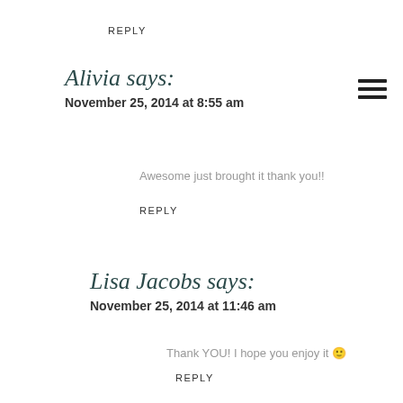REPLY
Alivia says:
November 25, 2014 at 8:55 am
Awesome just brought it thank you!!
REPLY
Lisa Jacobs says:
November 25, 2014 at 11:46 am
Thank YOU! I hope you enjoy it 🙂
REPLY